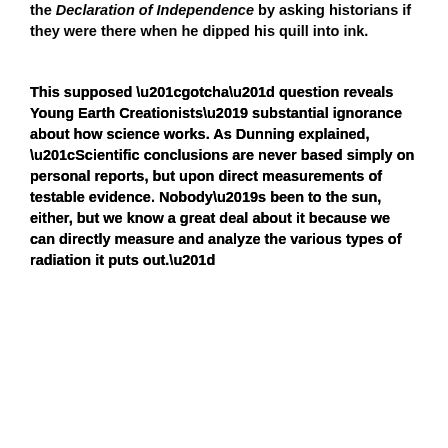the Declaration of Independence by asking historians if they were there when he dipped his quill into ink.
This supposed “gotcha” question reveals Young Earth Creationists’ substantial ignorance about how science works. As Dunning explained, “Scientific conclusions are never based simply on personal reports, but upon direct measurements of testable evidence. Nobody’s been to the sun, either, but we know a great deal about it because we can directly measure and analyze the various types of radiation it puts out.”
Likewise, chemists can’t see quarks and astronomers
Privacy & Cookies: This site uses cookies. By continuing to use this website, you agree to their use.
To find out more, including how to control cookies, see here: Cookie Policy
Close and accept